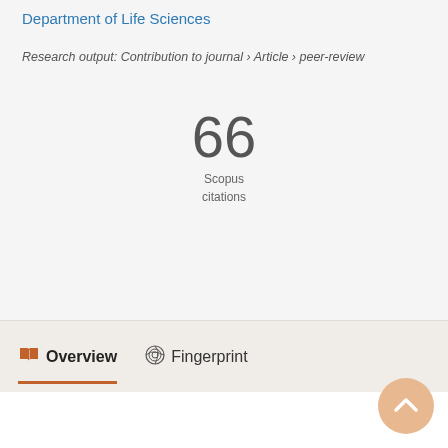Department of Life Sciences
Research output: Contribution to journal › Article › peer-review
66
Scopus
citations
Overview
Fingerprint